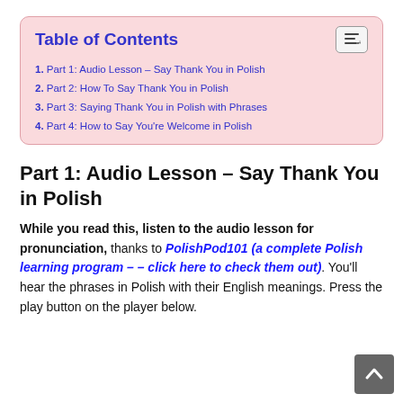Table of Contents
1. Part 1: Audio Lesson – Say Thank You in Polish
2. Part 2: How To Say Thank You in Polish
3. Part 3: Saying Thank You in Polish with Phrases
4. Part 4: How to Say You're Welcome in Polish
Part 1: Audio Lesson – Say Thank You in Polish
While you read this, listen to the audio lesson for pronunciation, thanks to PolishPod101 (a complete Polish learning program – – click here to check them out). You'll hear the phrases in Polish with their English meanings. Press the play button on the player below.